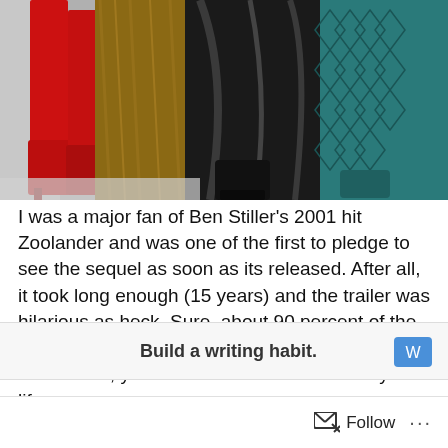[Figure (photo): Fashion photo showing lower halves of figures wearing colorful clothing and footwear — prominent red thigh-high boots on the left, gold/bronze fabric, black leather garments, and teal patterned fabric on the right]
I was a major fan of Ben Stiller's 2001 hit Zoolander and was one of the first to pledge to see the sequel as soon as its released. After all, it took long enough (15 years) and the trailer was hilarious as heck. Sure, about 90 percent of the first movie made absolutely no sense but sometimes, you need some nonsense into your life.
Advertisements
Build a writing habit.
Follow ...